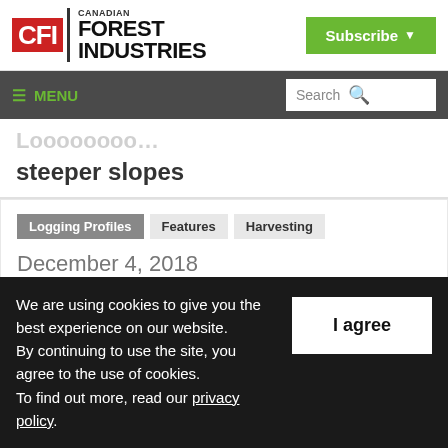[Figure (logo): Canadian Forest Industries (CFI) logo with red CFI box and black bold text]
[Figure (other): Green Subscribe button with dropdown arrow]
≡ MENU | Search
steeper slopes
Logging Profiles  Features  Harvesting
December 4, 2018
We are using cookies to give you the best experience on our website. By continuing to use the site, you agree to the use of cookies. To find out more, read our privacy policy.